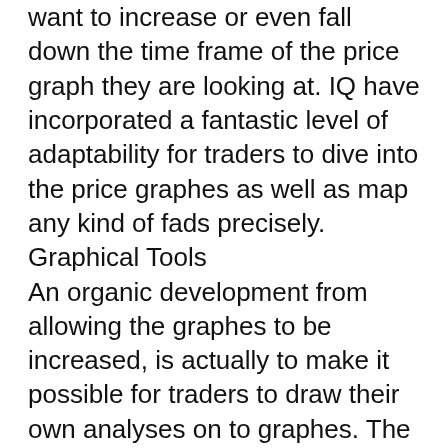want to increase or even fall down the time frame of the price graph they are looking at. IQ have incorporated a fantastic level of adaptability for traders to dive into the price graphes as well as map any kind of fads precisely.
Graphical Tools
An organic development from allowing the graphes to be increased, is actually to make it possible for traders to draw their own analyses on to graphes. The visual devices allow traders to incorporate styles, or help as well as protection series– the resources can be utilized having said that a trader dreams. This is actually critical for investors desiring to receive their time right– but once again, not regularly something that is given on various other exchanging platforms. Iq